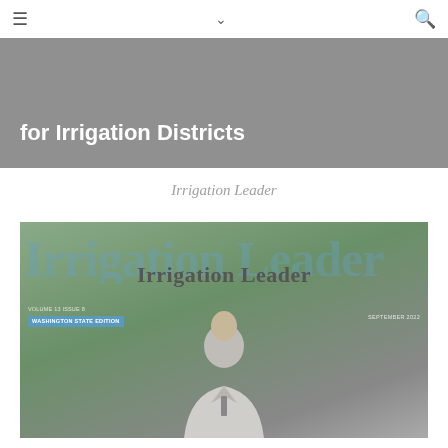≡  ∨  🔍
[Figure (photo): Top banner image showing text 'for Irrigation Districts' overlaid on a dark background photo]
Irrigation Leader
[Figure (photo): Magazine cover of Irrigation Leader, Volume 13 Issue 8, September 2022, Washington State Edition, featuring a man in a suit against a green wooded background, with large watermark-style 'Irrigation Leader' title and overlay text 'Irrigation Leader']